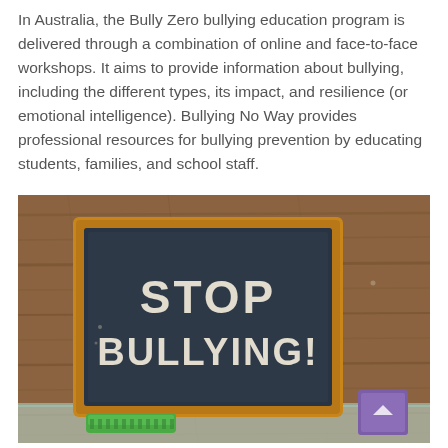In Australia, the Bully Zero bullying education program is delivered through a combination of online and face-to-face workshops. It aims to provide information about bullying, including the different types, its impact, and resilience (or emotional intelligence). Bullying No Way provides professional resources for bullying prevention by educating students, families, and school staff.
[Figure (photo): A chalkboard with a wooden frame leaning against a wooden background. Written on the chalkboard in chalk lettering: 'STOP BULLYING!'. A green chalkboard eraser is visible at the bottom and a purple object is in the lower right corner.]